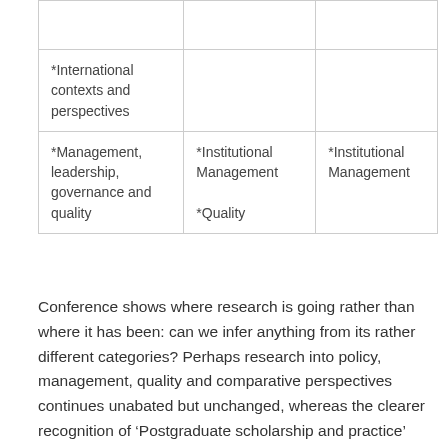|  |  |  |
| *International contexts and perspectives |  |  |
| *Management, leadership, governance and quality | *Institutional Management
*Quality | *Institutional Management |
Conference shows where research is going rather than where it has been: can we infer anything from its rather different categories? Perhaps research into policy, management, quality and comparative perspectives continues unabated but unchanged, whereas the clearer recognition of ‘Postgraduate scholarship and practice’ and (in particular) ‘Digital university and new learning